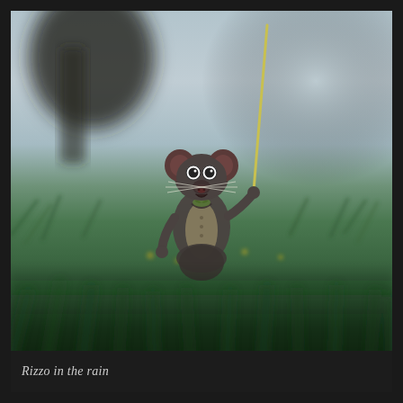[Figure (photo): A stop-motion or puppet rat figure (Rizzo) standing in a grassy field, holding a long thin pole/stick with one raised arm. The rat wears a waistcoat/jacket and has large round eyes, big ears, and whiskers. The background is a blurred green field with a misty grey-blue sky and a blurred dark tree visible at upper left. The foreground has blurred bokeh grass. The overall mood is cinematic and overcast.]
Rizzo in the rain